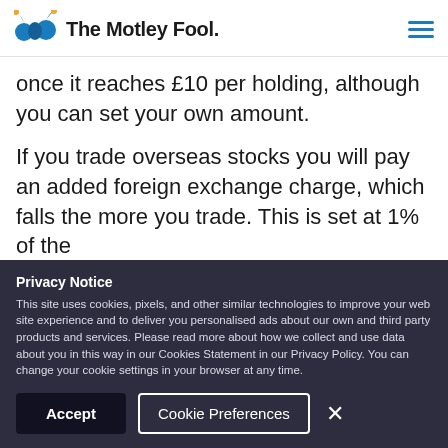The Motley Fool
once it reaches £10 per holding, although you can set your own amount.
If you trade overseas stocks you will pay an added foreign exchange charge, which falls the more you trade. This is set at 1% of the
Privacy Notice
This site uses cookies, pixels, and other similar technologies to improve your web site experience and to deliver you personalised ads about our own and third party products and services. Please read more about how we collect and use data about you in this way in our Cookies Statement in our Privacy Policy. You can change your cookie settings in your browser at any time.
Accept
Cookie Preferences